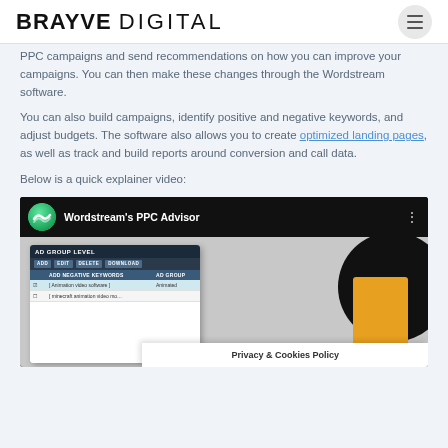BRAYVE DIGITAL
PPC campaigns and send recommendations on how you can improve your campaigns. You can then make these changes through the Wordstream software.
You can also build campaigns, identify positive and negative keywords, and adjust budgets. The software also allows you to create optimized landing pages, as well as track and build reports around conversion and call data.
Below is a quick explainer video:
[Figure (screenshot): Embedded YouTube video thumbnail showing Wordstream's PPC Advisor interface with a mock-up of the AD GROUP LEVEL screen showing ADD NEGATIVE KEYWORDS and AD GROUP columns, with black circle and orange shape decorations. Title bar reads "Wordstream's PPC Advisor". Cookie notice at bottom right reads "Privacy & Cookies Policy".]